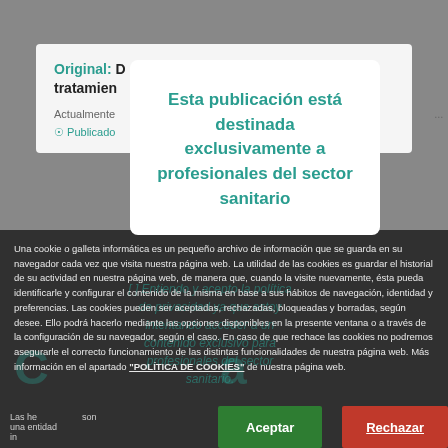Original: [título] para el tratamiento [texto] te con hernia ing[uinal]
Actualmente ...
Publicado [...]
[Figure (screenshot): Modal dialog overlay on a medical website with teal text reading 'Esta publicación está destinada exclusivamente a profesionales del sector sanitario']
Una cookie o galleta informática es un pequeño archivo de información que se guarda en su navegador cada vez que visita nuestra página web. La utilidad de las cookies es guardar el historial de su actividad en nuestra página web, de manera que, cuando la visite nuevamente, ésta pueda identificarle y configurar el contenido de la misma en base a sus hábitos de navegación, identidad y preferencias. Las cookies pueden ser aceptadas, rechazadas, bloqueadas y borradas, según desee. Ello podrá hacerlo mediante las opciones disponibles en la presente ventana o a través de la configuración de su navegador, según el caso. En caso de que rechace las cookies no podremos asegurarle el correcto funcionamiento de las distintas funcionalidades de nuestra página web. Más información en el apartado "POLÍTICA DE COOKIES" de nuestra página web.
Las he[rramientas] son una entidad in[dependiente]
Aceptar
Rechazar